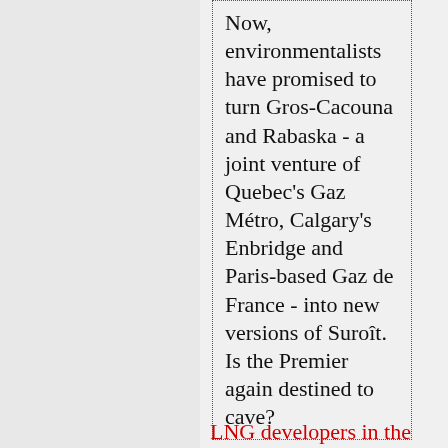Now, environmentalists have promised to turn Gros-Cacouna and Rabaska - a joint venture of Quebec's Gaz Métro, Calgary's Enbridge and Paris-based Gaz de France - into new versions of Suroît. Is the Premier again destined to cave?
LNG developers in the